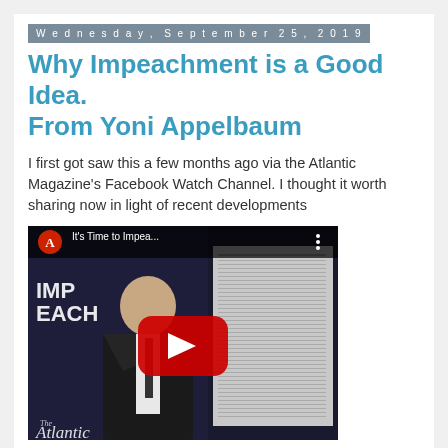Wednesday, September 25, 2019
Why Impeachment is a Good Idea. From Yoni Appelbaum
I first got saw this a few months ago via the Atlantic Magazine's Facebook Watch Channel. I thought it worth sharing now in light of recent developments
[Figure (screenshot): YouTube video thumbnail showing a man in a suit with 'IMPEACH' text overlay, The Atlantic logo, play button, and video title 'It's Time to Impea...']